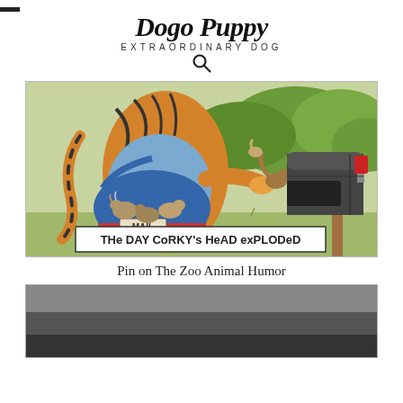Dogo Puppy — EXTRAORDINARY DOG
[Figure (illustration): Cartoon illustration titled 'THE DAY CORKY'S HEAD EXPLODED' showing a tiger dressed as a mail carrier with a blue MAIL bag full of mice/rats, placing one into a metal mailbox on a post. A snail is also on the mailbox. Background shows green trees/bushes.]
Pin on The Zoo Animal Humor
[Figure (photo): Partial photo with dark gray/charcoal tones, content mostly cut off at bottom of page.]